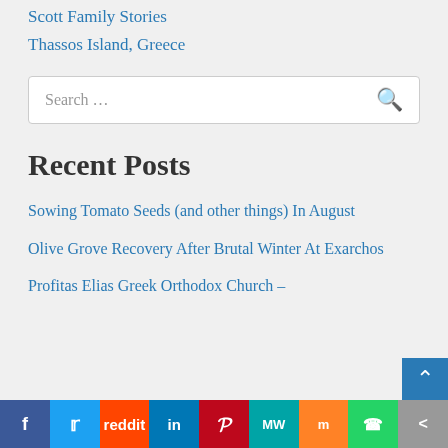Scott Family Stories
Thassos Island, Greece
Recent Posts
Sowing Tomato Seeds (and other things) In August
Olive Grove Recovery After Brutal Winter At Exarchos
Profitas Elias Greek Orthodox Church –
f  Twitter  Reddit  in  Pinterest  MW  Mix  WhatsApp  More